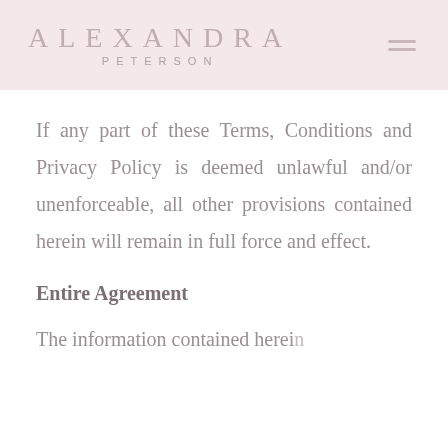ALEXANDRA PETERSON
If any part of these Terms, Conditions and Privacy Policy is deemed unlawful and/or unenforceable, all other provisions contained herein will remain in full force and effect.
Entire Agreement
The information contained herein is